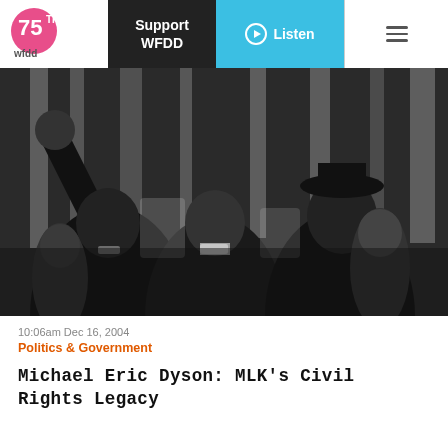wfdd 75th Anniversary | Support WFDD | Listen
[Figure (photo): Black and white photograph of civil rights figures, one with a raised fist, in a crowd scene]
10:06am Dec 16, 2004
Politics & Government
Michael Eric Dyson: MLK's Civil Rights Legacy